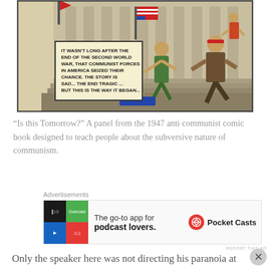[Figure (illustration): A panel from the 1947 anti-communist comic book 'Is this Tomorrow?' showing communist forces attacking people on the steps of a large building with columns, with a red flag visible. A speech bubble reads: 'It wasn't long after the end of the Second World War, that communist forces in America seized their chance. The story is sad... The end tragic... But this is the way it began...']
“Is this Tomorrow?” A panel from the 1947 anti communist comic book designed to teach people about the subversive nature of communism.
[Figure (other): Advertisement banner for Pocket Casts app. Shows a colorful diamond logo, text 'The go-to app for podcast lovers.' and the Pocket Casts logo with name.]
Only the speaker here was not directing his paranoia at